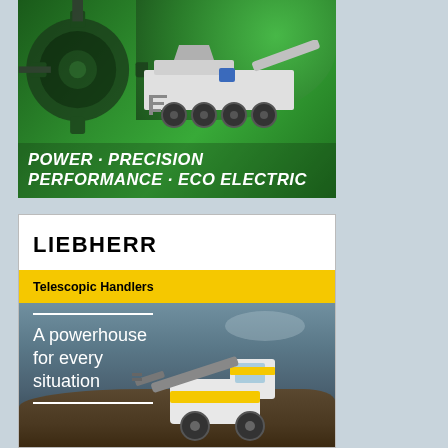[Figure (illustration): Green-themed advertisement showing industrial mobile crushing/screening machine with text 'POWER · PRECISION PERFORMANCE · ECO ELECTRIC' in white bold italic letters on green background]
[Figure (illustration): Liebherr Telescopic Handlers advertisement. White top section with 'LIEBHERR' logo, yellow bar with 'Telescopic Handlers', and lower dark photo section showing a Liebherr telescopic handler machine on rocky terrain with text 'A powerhouse for every situation']